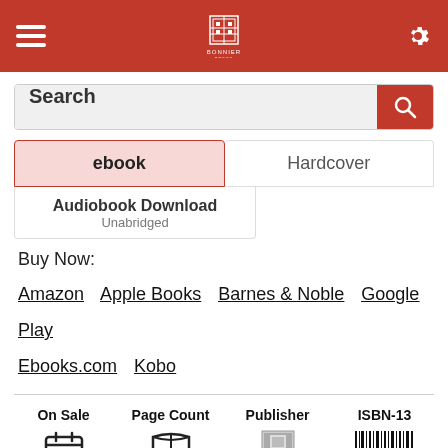[Figure (screenshot): App header bar with hamburger menu, Bonnier Press logo centered, and gear/settings icon, all on red background]
Search
ebook
Hardcover
Audiobook Download
Unabridged
Buy Now:
Amazon  Apple Books  Barnes & Noble  Google Play  Ebooks.com  Kobo
| On Sale | Page Count | Publisher | ISBN-13 |
| --- | --- | --- | --- |
| Sep 14, 2021 | 272 Pages |  | 9780762473809 |